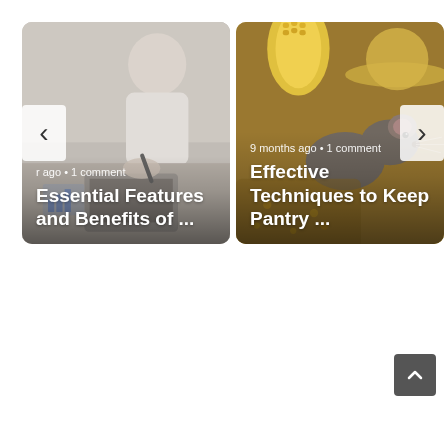[Figure (screenshot): Website blog carousel showing two article cards side by side. Left card shows a person working at a laptop (blurred background). Metadata: '...r ago • 1 comment'. Title: 'Essential Features and Benefits of ...'. Right card shows a mouse near corn/grain. Metadata: '9 months ago • 1 comment'. Title: 'Effective Techniques to Keep Pantry ...'. Navigation arrows visible on left and right edges. A scroll-to-top button (dark square with up chevron) appears bottom-right.]